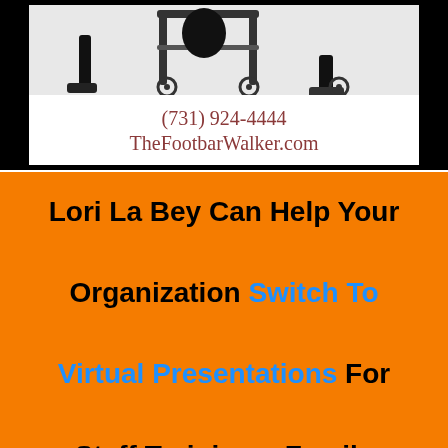[Figure (photo): Advertisement image with black background showing a person sitting in a walker/rollator mobility device, with text '(731) 924-4444' and 'TheFootbarWalker.com' in dark red serif font on white background]
Lori La Bey Can Help Your Organization Switch To Virtual Presentations For Staff Trainings, Family